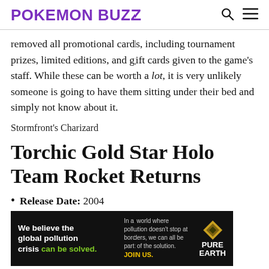POKEMON BUZZ
removed all promotional cards, including tournament prizes, limited editions, and gift cards given to the game's staff. While these can be worth a lot, it is very unlikely someone is going to have them sitting under their bed and simply not know about it.
Stormfront's Charizard
Torchic Gold Star Holo Team Rocket Returns
Release Date: 2004
[Figure (other): Advertisement banner for Pure Earth organization with text: We believe the global pollution crisis can be solved. In a world where pollution doesn't stop at borders, we can all be part of the solution. JOIN US. Pure Earth logo.]